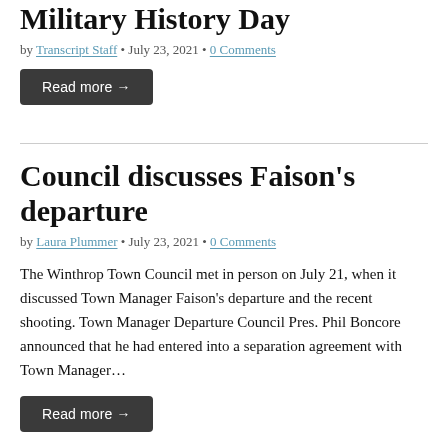Military History Day
by Transcript Staff • July 23, 2021 • 0 Comments
Read more →
Council discusses Faison's departure
by Laura Plummer • July 23, 2021 • 0 Comments
The Winthrop Town Council met in person on July 21, when it discussed Town Manager Faison's departure and the recent shooting. Town Manager Departure Council Pres. Phil Boncore announced that he had entered into a separation agreement with Town Manager…
Read more →